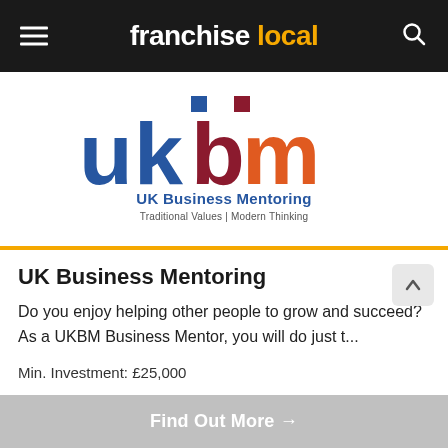franchise local
[Figure (logo): UKBM UK Business Mentoring logo with stylized letters u, k, b, m in blue, dark red/maroon, and orange-red gradient colors, with text 'UK Business Mentoring' and tagline 'Traditional Values | Modern Thinking']
UK Business Mentoring
Do you enjoy helping other people to grow and succeed? As a UKBM Business Mentor, you will do just t...
Min. Investment: £25,000
Find Out More →